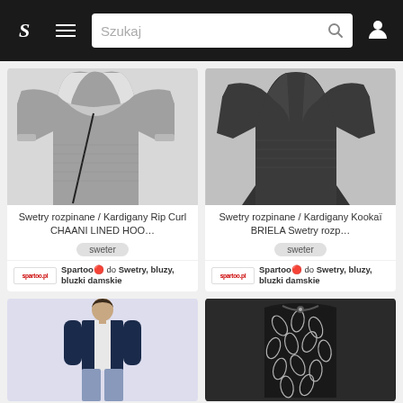[Figure (screenshot): Mobile app navigation bar with logo S, hamburger menu, search bar with placeholder Szukaj, and user icon]
[Figure (photo): Grey marled zip-up hoodie sweatshirt cardigan on white background]
Swetry rozpinane / Kardigany Rip Curl CHAANI LINED HOO…
sweter
Spartoo 🔴 do Swetry, bluzy, bluzki damskie
[Figure (photo): Dark grey/charcoal open-front knit cardigan on white background]
Swetry rozpinane / Kardigany Kookaï BRIELA Swetry rozp…
sweter
Spartoo 🔴 do Swetry, bluzy, bluzki damskie
[Figure (photo): Woman wearing navy blue cardigan with light jeans]
[Figure (photo): Black sleeveless top/dress with white leaf pattern print]